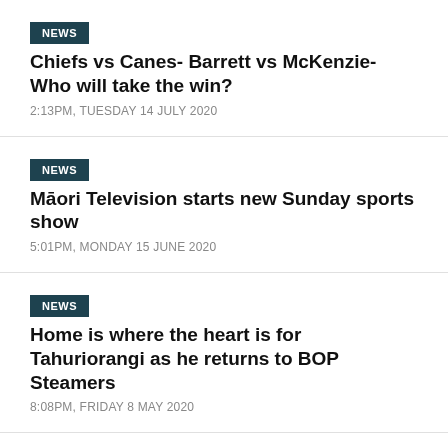NEWS | Chiefs vs Canes- Barrett vs McKenzie- Who will take the win? | 2:13PM, TUESDAY 14 JULY 2020
NEWS | Māori Television starts new Sunday sports show | 5:01PM, MONDAY 15 JUNE 2020
NEWS | Home is where the heart is for Tahuriorangi as he returns to BOP Steamers | 8:08PM, FRIDAY 8 MAY 2020